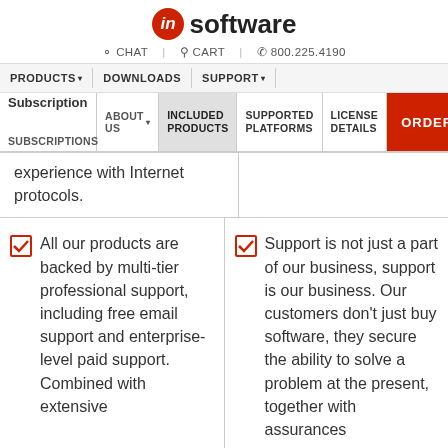[Figure (logo): IN Software logo with red swirl icon and bold 'software' text]
CHAT | CART | 800.225.4190
PRODUCTS ▾ | DOWNLOADS | SUPPORT ▾ | SUBSCRIPTIONS | ABOUT US ▾ | Subscription INCLUDED PRODUCTS | SUPPORTED PLATFORMS | LICENSE DETAILS | ORDER
experience with Internet protocols.
All our products are backed by multi-tier professional support, including free email support and enterprise-level paid support. Combined with extensive
Support is not just a part of our business, support is our business. Our customers don't just buy software, they secure the ability to solve a problem at the present, together with assurances